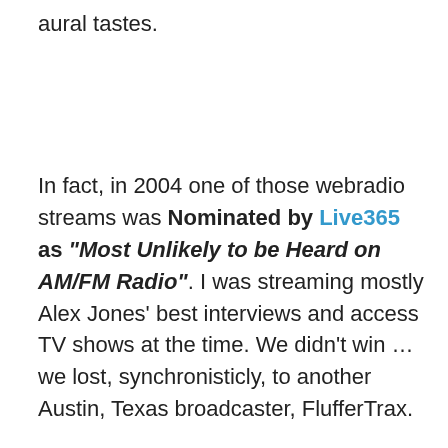aural tastes.
In fact, in 2004 one of those webradio streams was Nominated by Live365 as "Most Unlikely to be Heard on AM/FM Radio". I was streaming mostly Alex Jones' best interviews and access TV shows at the time. We didn't win … we lost, synchronisticly, to another Austin, Texas broadcaster, FlufferTrax.
[Figure (other): Broken image placeholder showing URL https://i0.wp.com/www.nufoc.net/nufoc38/images/nufocposter.gif]